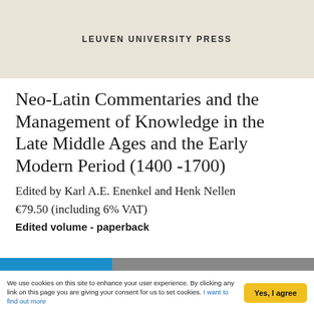LEUVEN UNIVERSITY PRESS
Neo-Latin Commentaries and the Management of Knowledge in the Late Middle Ages and the Early Modern Period (1400 -1700)
Edited by Karl A.E. Enenkel and Henk Nellen
€79.50 (including 6% VAT)
Edited volume - paperback
We use cookies on this site to enhance your user experience. By clicking any link on this page you are giving your consent for us to set cookies. I want to find out more